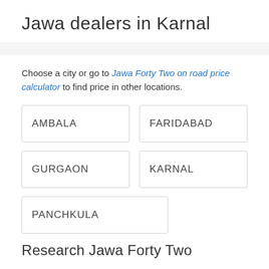Jawa dealers in Karnal
Choose a city or go to Jawa Forty Two on road price calculator to find price in other locations.
AMBALA
FARIDABAD
GURGAON
KARNAL
PANCHKULA
Research Jawa Forty Two